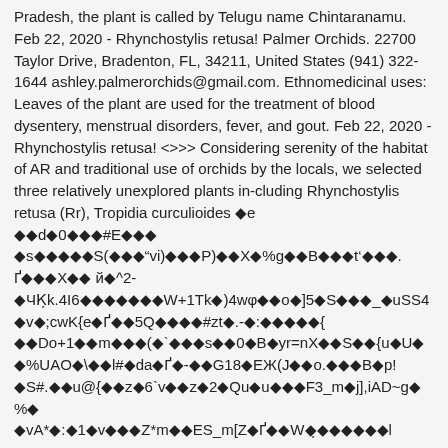Pradesh, the plant is called by Telugu name Chintaranamu. Feb 22, 2020 - Rhynchostylis retusa! Palmer Orchids. 22700 Taylor Drive, Bradenton, FL, 34211, United States (941) 322-1644 ashley.palmerorchids@gmail.com. Ethnomedicinal uses: Leaves of the plant are used for the treatment of blood dysentery, menstrual disorders, fever, and gout. Feb 22, 2020 - Rhynchostylis retusa! <<>> Considering serenity of the habitat of AR and traditional use of orchids by the locals, we selected three relatively unexplored plants in-cluding Rhynchostylis retusa (Rr), Tropidia curculioides �e ��d�0���#E��� �s�����S(���"vi)���P)��X�%g��B���t’���. Ґ���X�� й�^2- �ЧК̦k.4I6�������W+1Tk�)4wφ��o�]5�S���_�uSS4 �v�;cwK{e�Ґ��5Q����#zt�.-�:�����{ ��Do+1��m���(�`���s��0�B�yr=nX��S��{u�U� �%UAO�\��l#�da�Ґ�-��G18�EЖ(J��o.���B�p! �S#.��u@{��z�6`v��z�2�Qu�u���F3_m�j],iAD~g�%� �vA*�:�1�v���Z*m��ES_m[Z�Ґ��W�̦������l